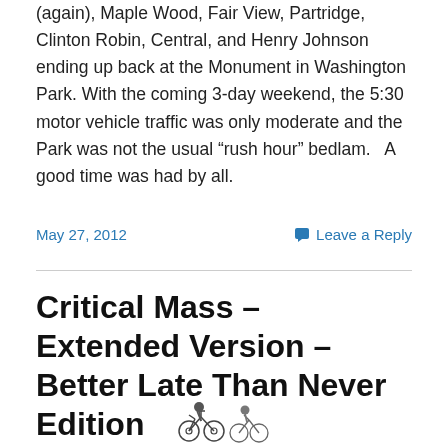(again), Maple Wood, Fair View, Partridge, Clinton Robin, Central, and Henry Johnson ending up back at the Monument in Washington Park.  With the coming 3-day weekend, the 5:30 motor vehicle traffic was only moderate and the Park was not the usual “rash hour” bedlam.   A good time was had by all.
May 27, 2012
Leave a Reply
Critical Mass – Extended Version – Better Late Than Never Edition
[Figure (illustration): Small illustration of cyclists/bicyclists at the bottom of the page]